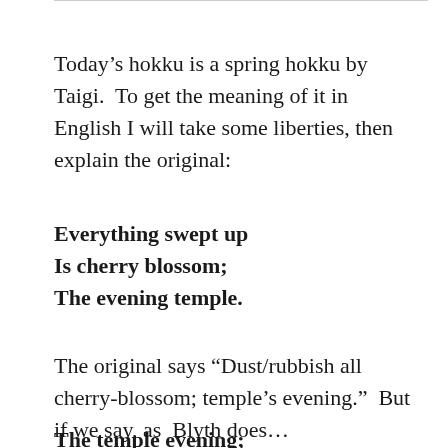Today's hokku is a spring hokku by Taigi.  To get the meaning of it in English I will take some liberties, then explain the original:
Everything swept up
Is cherry blossom;
The evening temple.
The original says “Dust/rubbish all cherry-blossom; temple’s evening.”  But if we say, as  Blyth does…
The temple evening;
The dust is all
Cherry blossom.